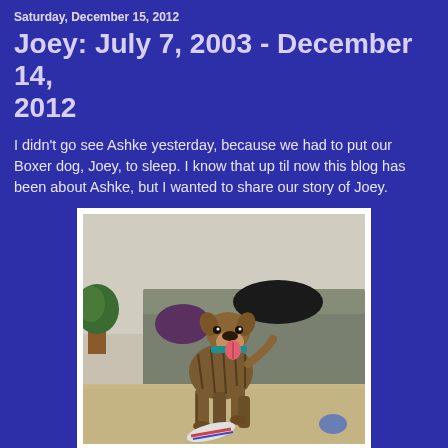Saturday, December 15, 2012
Joey: July 7, 2003 - December 14, 2012
I didn't go see Ashke yesterday, because we had to put our Boxer dog, Joey, to sleep. I know that up til now this blog has been about Ashke, but I wanted to share our story of Joey.
[Figure (photo): A brindle boxer dog puppy standing on carpet, wearing a teal collar, playing with a rope toy. A gray couch and houseplant are visible in the background.]
We brought her home November 26, 2003. She was wiggly, bouncey and pure boxer dog.